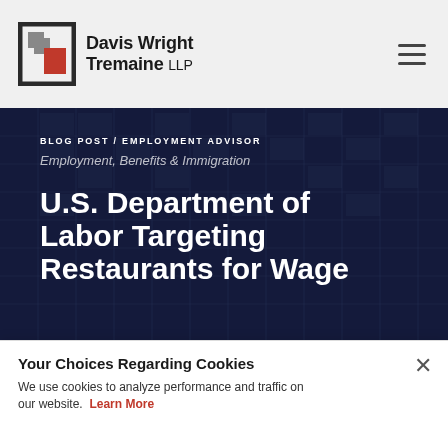[Figure (logo): Davis Wright Tremaine LLP law firm logo with geometric square icon in dark/red tones and firm name text]
BLOG POST / EMPLOYMENT ADVISOR
Employment, Benefits & Immigration
U.S. Department of Labor Targeting Restaurants for Wage
Your Choices Regarding Cookies
We use cookies to analyze performance and traffic on our website. Learn More